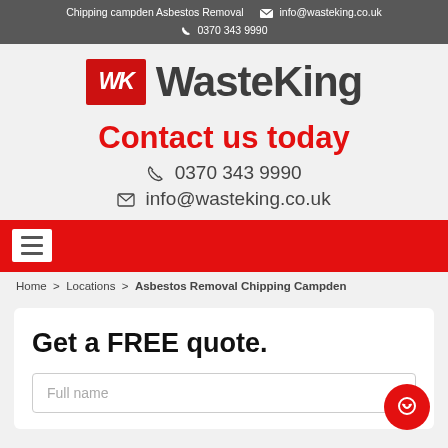Chipping campden Asbestos Removal  ✉ info@wasteking.co.uk  ✆ 0370 343 9990
[Figure (logo): WasteKing logo: red square with white italic WK letters, followed by bold grey WasteKing text]
Contact us today
📞 0370 343 9990
✉ info@wasteking.co.uk
Home > Locations > Asbestos Removal Chipping Campden
Get a FREE quote.
Full name